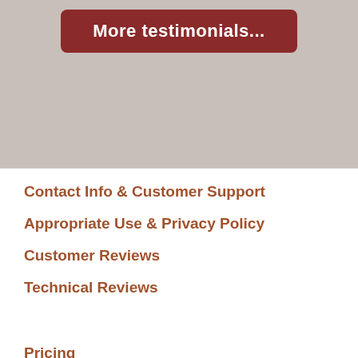[Figure (other): Dark red rounded button labeled 'More testimonials...' on a beige/tan background]
Contact Info & Customer Support
Appropriate Use & Privacy Policy
Customer Reviews
Technical Reviews
Pricing
MailBug FAQs